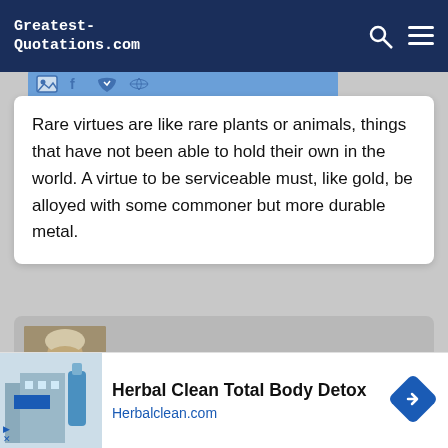Greatest-Quotations.com
Rare virtues are like rare plants or animals, things that have not been able to hold their own in the world. A virtue to be serviceable must, like gold, be alloyed with some commoner but more durable metal.
[Figure (photo): Portrait of Benjamin Franklin]
Benjamin Franklin
American statesman and physicist 1706-1790
That which resembles most living one's life over again...
Herbal Clean Total Body Detox
Herbalclean.com